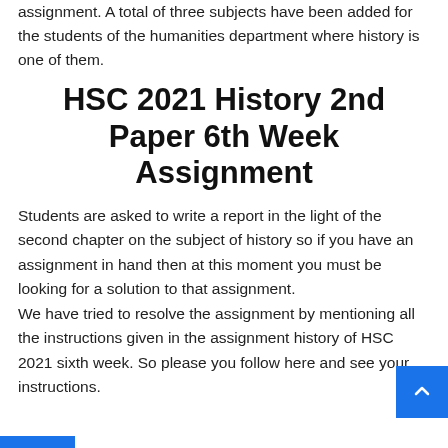assignment. A total of three subjects have been added for the students of the humanities department where history is one of them.
HSC 2021 History 2nd Paper 6th Week Assignment
Students are asked to write a report in the light of the second chapter on the subject of history so if you have an assignment in hand then at this moment you must be looking for a solution to that assignment.
We have tried to resolve the assignment by mentioning all the instructions given in the assignment history of HSC 2021 sixth week. So please you follow here and see your instructions.